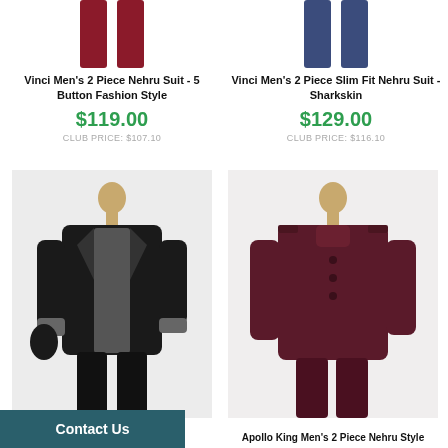[Figure (photo): Top portion of a dark red/burgundy Nehru suit (pants) on mannequin, left column]
Vinci Men's 2 Piece Nehru Suit - 5 Button Fashion Style
$119.00
CLUB PRICE: $107.10
[Figure (photo): Top portion of a dark blue Nehru suit (pants) on mannequin, right column]
Vinci Men's 2 Piece Slim Fit Nehru Suit - Sharkskin
$129.00
CLUB PRICE: $116.10
[Figure (photo): Full black Nehru style suit on mannequin with grey trim details, bottom left]
[Figure (photo): Full burgundy/dark red Nehru suit on mannequin, bottom right]
e Nehru Style
Apollo King Men's 2 Piece Nehru Style
Contact Us